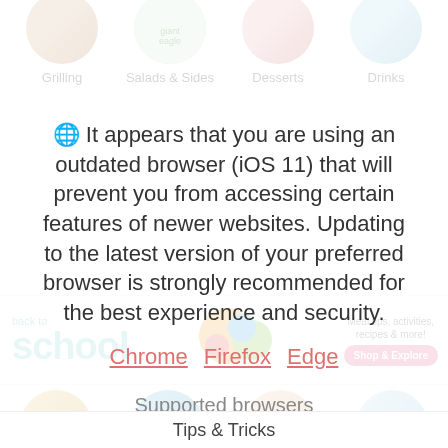[Figure (screenshot): Navigation bar showing store categories: Grilling, Salads & Sides, Desserts, Drinks with circular food images and store logos (Giant Eagle, Market District, JetGo)]
It appears that you are using an outdated browser (iOS 11) that will prevent you from accessing certain features of newer websites. Updating to the latest version of your preferred browser is strongly recommended for the best experience and security.
Chrome  Firefox  Edge
[Figure (screenshot): Back to school banner with teal text, food imagery, meal tips text, and Shop & Explore button]
Supported browsers
Chrome (all devices) last 2 versions
Firefox (all devices) last 2 versions
Edge (all devices) last 2 versions
Safari (Mac) last 2 versions
Tips & Tricks